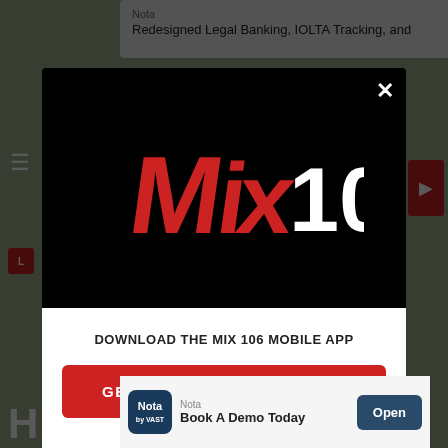Nota
Redesigned Legal Banking, IOLTA Tracking, and
[Figure (logo): Mix 106 radio station logo — stylized red and white lettering 'Mix' with '106' in white, on black background]
DOWNLOAD THE MIX 106 MOBILE APP
GET OUR FREE MOBILE APP
Also listen on:  amazon alexa
Nota
Book A Demo Today
Open